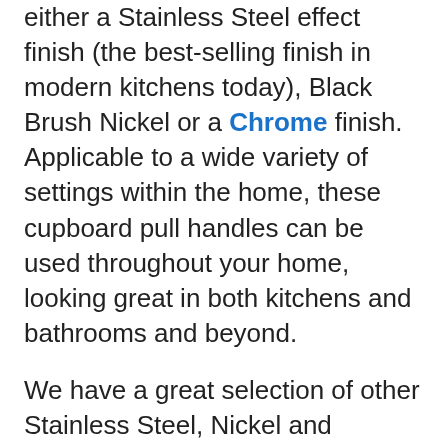either a Stainless Steel effect finish (the best-selling finish in modern kitchens today), Black Brush Nickel or a Chrome finish. Applicable to a wide variety of settings within the home, these cupboard pull handles can be used throughout your home, looking great in both kitchens and bathrooms and beyond.
We have a great selection of other Stainless Steel, Nickel and Chrome cupboard handles and cupboard knobs available if you're looking to create a fully coordinated look around your home.
The SN Collection.